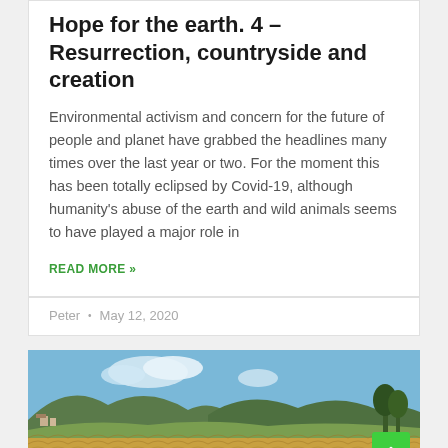Hope for the earth. 4 – Resurrection, countryside and creation
Environmental activism and concern for the future of people and planet have grabbed the headlines many times over the last year or two. For the moment this has been totally eclipsed by Covid-19, although humanity's abuse of the earth and wild animals seems to have played a major role in
READ MORE »
Peter  •  May 12, 2020
[Figure (photo): Countryside landscape photo showing golden wheat or grain fields in the foreground with rolling green hills and a blue sky with clouds in the background]